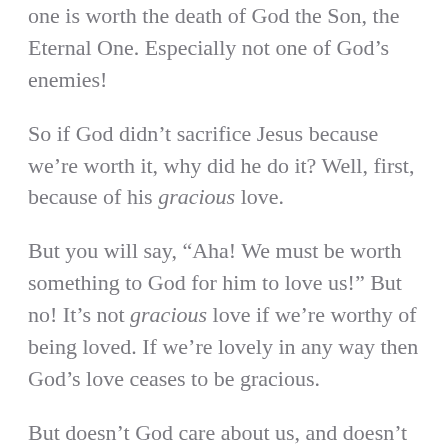one is worth the death of God the Son, the Eternal One. Especially not one of God's enemies!
So if God didn't sacrifice Jesus because we're worth it, why did he do it? Well, first, because of his gracious love.
But you will say, “Aha! We must be worth something to God for him to love us!” But no! It’s not gracious love if we’re worthy of being loved. If we’re lovely in any way then God’s love ceases to be gracious.
But doesn’t God care about us, and doesn’t he know the number of hairs on our heads? Yes… but does he care because out hair is worthy to